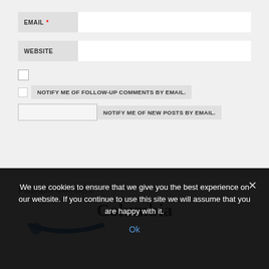EMAIL *
WEBSITE
NOTIFY ME OF FOLLOW-UP COMMENTS BY EMAIL.
NOTIFY ME OF NEW POSTS BY EMAIL.
Platinum Members
[Figure (logo): Columbia Bank logo with blue arc element]
We use cookies to ensure that we give you the best experience on our website. If you continue to use this site we will assume that you are happy with it.
Ok